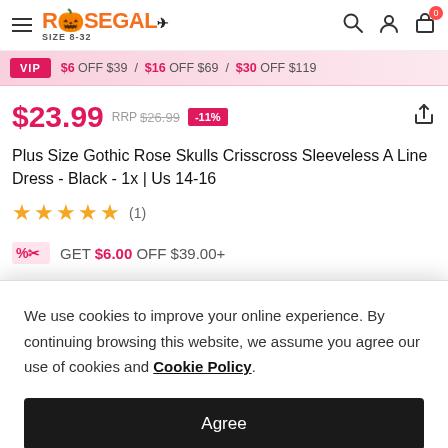ROSEGAL SIZE 8-32
VIP $6 OFF $39 / $16 OFF $69 / $30 OFF $119
$23.99 RRP $26.99 -11%
Plus Size Gothic Rose Skulls Crisscross Sleeveless A Line Dress - Black - 1x | Us 14-16
★★★★★ (1)
GET $6.00 OFF $39.00+
We use cookies to improve your online experience. By continuing browsing this website, we assume you agree our use of cookies and Cookie Policy.
Agree